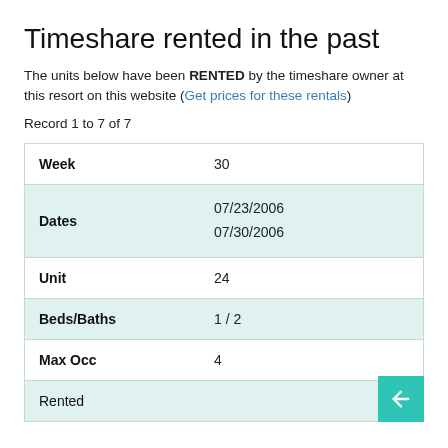Timeshare rented in the past
The units below have been RENTED by the timeshare owner at this resort on this website (Get prices for these rentals)
Record 1 to 7 of 7
| Field | Value |
| --- | --- |
| Week | 30 |
| Dates | 07/23/2006
07/30/2006 |
| Unit | 24 |
| Beds/Baths | 1 / 2 |
| Max Occ | 4 |
| Rented |  |